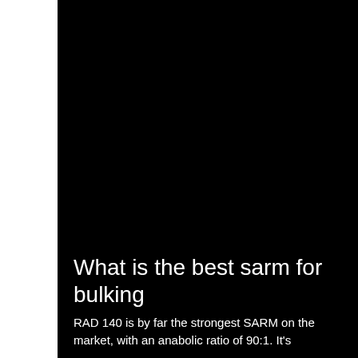[Figure (photo): Dark/black background image taking up the right portion of the page, appearing to show a dark scene, possibly related to fitness or bodybuilding.]
What is the best sarm for bulking
RAD 140 is by far the strongest SARM on the market, with an anabolic ratio of 90:1. It's